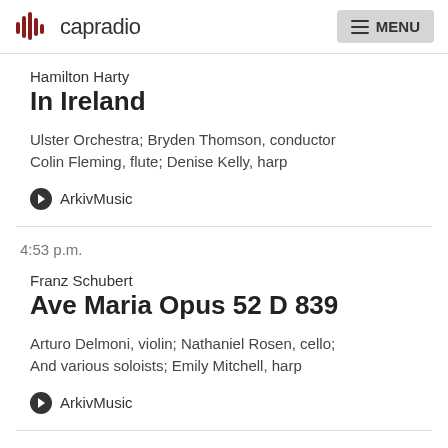capradio  MENU
Hamilton Harty
In Ireland
Ulster Orchestra; Bryden Thomson, conductor
Colin Fleming, flute; Denise Kelly, harp
ArkivMusic
4:53 p.m.
Franz Schubert
Ave Maria Opus 52 D 839
Arturo Delmoni, violin; Nathaniel Rosen, cello;
And various soloists; Emily Mitchell, harp
ArkivMusic